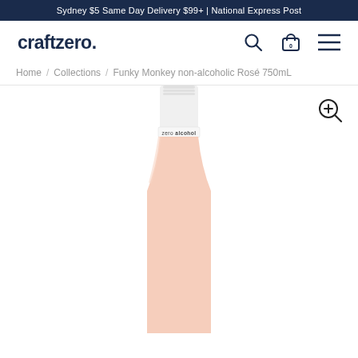Sydney $5 Same Day Delivery $99+ | National Express Post
[Figure (logo): craftzero. logo in dark navy bold font]
Home / Collections / Funky Monkey non-alcoholic Rosé 750mL
[Figure (photo): Non-alcoholic rosé wine bottle (Funky Monkey) showing pale pink bottle body with white capsule/foil neck and a small label reading 'zero alcohol'. The bottle is cropped showing from just below the capsule downward, on a white background.]